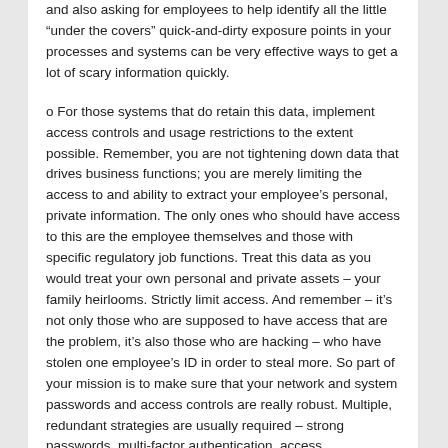and also asking for employees to help identify all the little “under the covers” quick-and-dirty exposure points in your processes and systems can be very effective ways to get a lot of scary information quickly.
o For those systems that do retain this data, implement access controls and usage restrictions to the extent possible. Remember, you are not tightening down data that drives business functions; you are merely limiting the access to and ability to extract your employee’s personal, private information. The only ones who should have access to this are the employee themselves and those with specific regulatory job functions. Treat this data as you would treat your own personal and private assets – your family heirlooms. Strictly limit access. And remember – it’s not only those who are supposed to have access that are the problem, it’s also those who are hacking – who have stolen one employee’s ID in order to steal more. So part of your mission is to make sure that your network and system passwords and access controls are really robust. Multiple, redundant strategies are usually required – strong passwords, multi-factor authentication, access